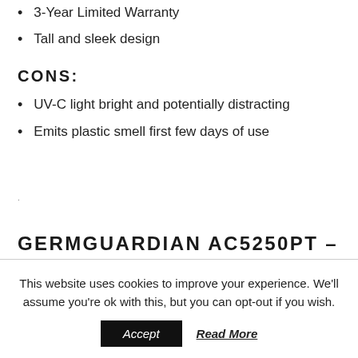3-Year Limited Warranty
Tall and sleek design
CONS:
UV-C light bright and potentially distracting
Emits plastic smell first few days of use
GERMGUARDIAN AC5250PT – SUMMARY
This website uses cookies to improve your experience. We'll assume you're ok with this, but you can opt-out if you wish.